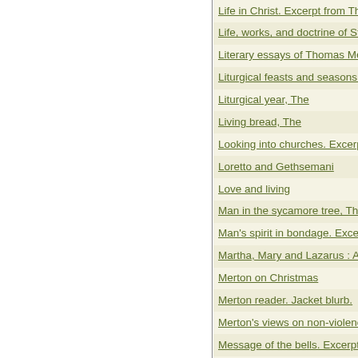Life in Christ. Excerpt from The ne...
Life, works, and doctrine of St. Ber...
Literary essays of Thomas Merton, T...
Liturgical feasts and seasons. Confe...
Liturgical year, The
Living bread, The
Looking into churches. Excerpt fro...
Loretto and Gethsemani
Love and living
Man in the sycamore tree, The. No...
Man's spirit in bondage. Excerpt fro...
Martha, Mary and Lazarus : Action a...
Merton on Christmas
Merton reader. Jacket blurb.
Merton's views on non-violence
Message of the bells. Excerpt from T...
Monastery at midnight. Excerpts fro...
Monastic journey, The
Monastic life at Gethsemani...